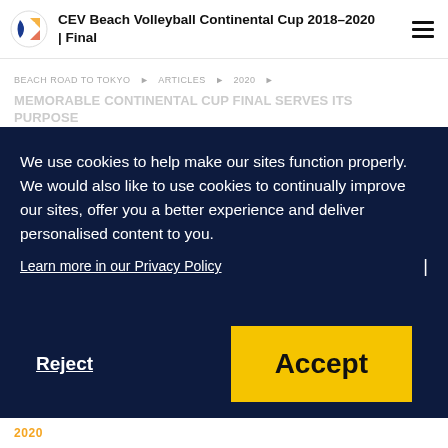CEV Beach Volleyball Continental Cup 2018-2020 | Final
BEACH ROAD TO TOKYO ▶ ARTICLES ▶ 2020 ▶
MEMORABLE CONTINENTAL CUP FINAL SERVES ITS PURPOSE
We use cookies to help make our sites function properly. We would also like to use cookies to continually improve our sites, offer you a better experience and deliver personalised content to you.
Learn more in our Privacy Policy
Reject
Accept